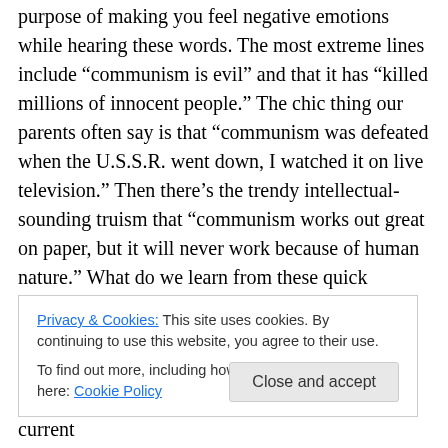purpose of making you feel negative emotions while hearing these words. The most extreme lines include “communism is evil” and that it has “killed millions of innocent people.” The chic thing our parents often say is that “communism was defeated when the U.S.S.R. went down, I watched it on live television.” Then there’s the trendy intellectual-sounding truism that “communism works out great on paper, but it will never work because of human nature.” What do we learn from these quick “academic” discussions? Very little.
So let’s put our emotions to the side for a few minutes so
Privacy & Cookies: This site uses cookies. By continuing to use this website, you agree to their use.
To find out more, including how to control cookies, see here: Cookie Policy
Marxian theory so it can better understand our current